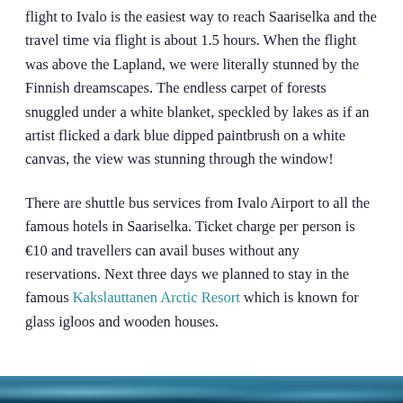flight to Ivalo is the easiest way to reach Saariselka and the travel time via flight is about 1.5 hours. When the flight was above the Lapland, we were literally stunned by the Finnish dreamscapes. The endless carpet of forests snuggled under a white blanket, speckled by lakes as if an artist flicked a dark blue dipped paintbrush on a white canvas, the view was stunning through the window!
There are shuttle bus services from Ivalo Airport to all the famous hotels in Saariselka. Ticket charge per person is €10 and travellers can avail buses without any reservations. Next three days we planned to stay in the famous Kakslauttanen Arctic Resort which is known for glass igloos and wooden houses.
[Figure (photo): Bottom strip showing a snowy winter landscape scene in Finnish Lapland, with blue tones suggesting snow-covered trees and terrain.]